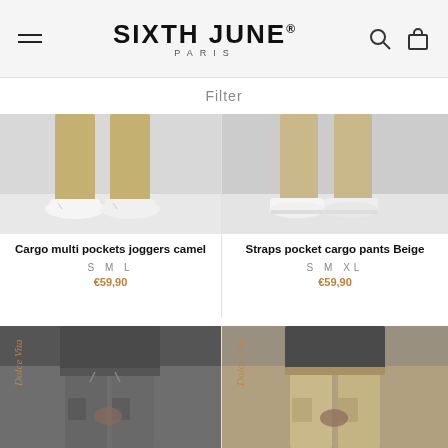SIXTH JUNE PARIS
Filter
[Figure (photo): Product photo showing lower legs and white sneakers, cargo multi pockets joggers camel color]
Cargo multi pockets joggers camel
S M L
€59,90
[Figure (photo): Product photo showing lower legs and white sneakers, straps pocket cargo pants beige color]
Straps pocket cargo pants Beige
S M XL
€59,90
[Figure (photo): Product photo of dark grey cargo pants with Dolce Vita text overlay]
[Figure (photo): Product photo of beige/khaki cargo pants with Dolce Vita text overlay]